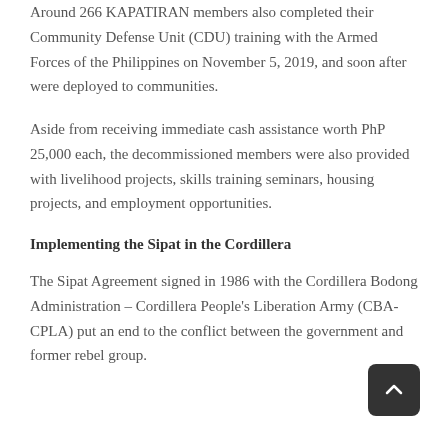Around 266 KAPATIRAN members also completed their Community Defense Unit (CDU) training with the Armed Forces of the Philippines on November 5, 2019, and soon after were deployed to communities.
Aside from receiving immediate cash assistance worth PhP 25,000 each, the decommissioned members were also provided with livelihood projects, skills training seminars, housing projects, and employment opportunities.
Implementing the Sipat in the Cordillera
The Sipat Agreement signed in 1986 with the Cordillera Bodong Administration – Cordillera People's Liberation Army (CBA-CPLA) put an end to the conflict between the government and former rebel group.